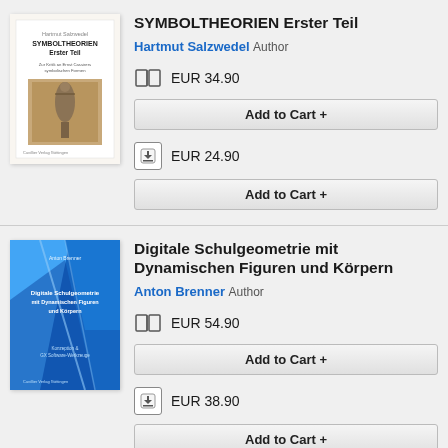[Figure (illustration): Book cover for SYMBOLTHEORIEN Erster Teil by Hartmut Salzwedel, showing white background with title text and a photograph of a sculpture/statue]
SYMBOLTHEORIEN Erster Teil
Hartmut Salzwedel Author
EUR 34.90
Add to Cart +
EUR 24.90
Add to Cart +
[Figure (illustration): Book cover for Digitale Schulgeometrie mit Dynamischen Figuren und Körpern by Anton Brenner, blue geometric design]
Digitale Schulgeometrie mit Dynamischen Figuren und Körpern
Anton Brenner Author
EUR 54.90
Add to Cart +
EUR 38.90
Add to Cart +